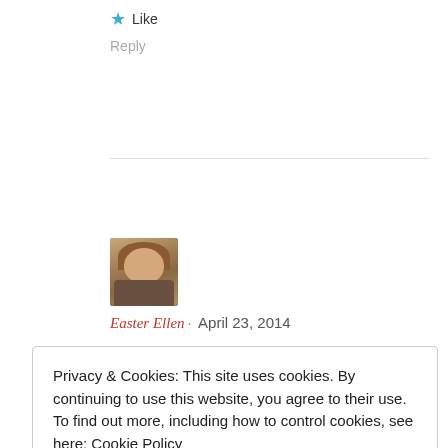★ Like
Reply
[Figure (photo): Profile photo of Easter Ellen, a woman with blonde hair]
Easter Ellen · April 23, 2014
Privacy & Cookies: This site uses cookies. By continuing to use this website, you agree to their use.
To find out more, including how to control cookies, see here: Cookie Policy
Close and accept